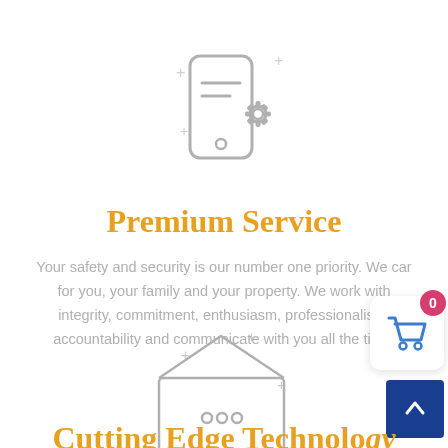[Figure (illustration): Line art icon of a smartphone with a settings/gear icon and decorative plus signs around it]
Premium Service
Your safety and security is our number one priority. We car for you, your family and your property. We work with integrity, commitment, enthusiasm, professionalism, accountability and communicate with you all the time!
[Figure (illustration): Line art icon of an open envelope with dots and decorative plus signs around it]
Cutting Edge Technology